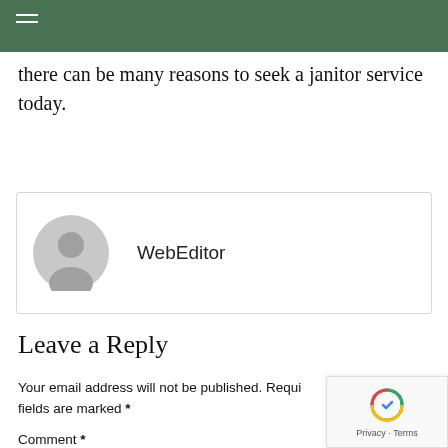there can be many reasons to seek a janitor service today.
[Figure (illustration): Author avatar placeholder — grey circle with silhouette of a person, next to the name 'WebEditor']
Leave a Reply
Your email address will not be published. Required fields are marked *
Comment *